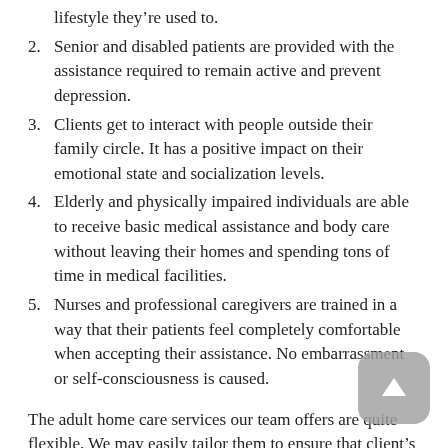lifestyle they're used to.
2. Senior and disabled patients are provided with the assistance required to remain active and prevent depression.
3. Clients get to interact with people outside their family circle. It has a positive impact on their emotional state and socialization levels.
4. Elderly and physically impaired individuals are able to receive basic medical assistance and body care without leaving their homes and spending tons of time in medical facilities.
5. Nurses and professional caregivers are trained in a way that their patients feel completely comfortable when accepting their assistance. No embarrassment or self-consciousness is caused.
The adult home care services our team offers are quite flexible. We may easily tailor them to ensure that client's unique needs are met. For that matter, we suggest the following options regarding the continuation of your care: